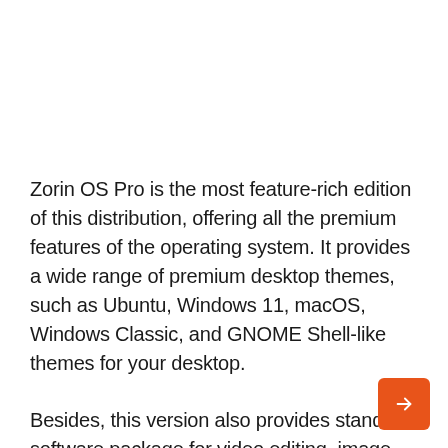Zorin OS Pro is the most feature-rich edition of this distribution, offering all the premium features of the operating system. It provides a wide range of premium desktop themes, such as Ubuntu, Windows 11, macOS, Windows Classic, and GNOME Shell-like themes for your desktop.
Besides, this version also provides standard software package for video editing, image editing, audio editing, animation creation and